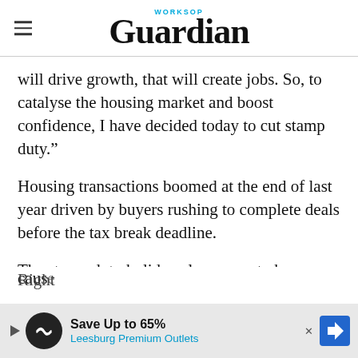Worksop Guardian
will drive growth, that will create jobs. So, to catalyse the housing market and boost confidence, I have decided today to cut stamp duty."
Housing transactions boomed at the end of last year driven by buyers rushing to complete deals before the tax break deadline.
The stamp duty holiday also seems to have cause[d] ... Right[...] d
[Figure (other): Advertisement banner: Save Up to 65% Leesburg Premium Outlets]